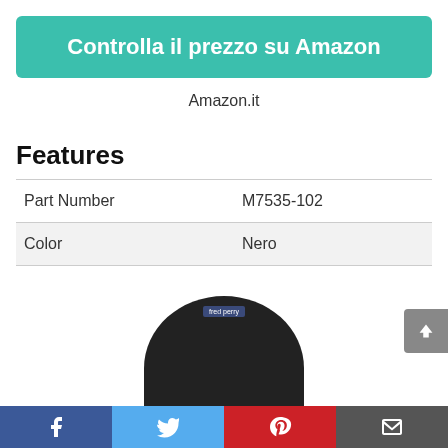Controlla il prezzo su Amazon
Amazon.it
Features
|  |  |
| --- | --- |
| Part Number | M7535-102 |
| Color | Nero |
[Figure (photo): Black crewneck sweater product image, partially visible at bottom of page]
Facebook | Twitter | Pinterest | Email